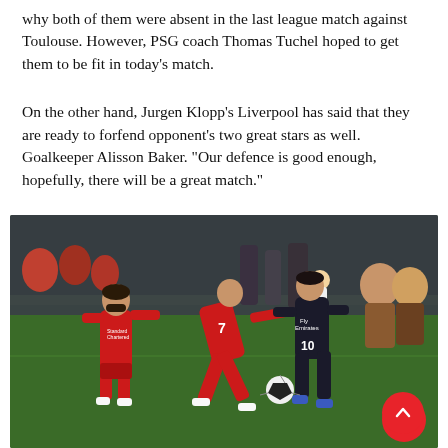why both of them were absent in the last league match against Toulouse. However, PSG coach Thomas Tuchel hoped to get them to be fit in today’s match.
On the other hand, Jurgen Klopp’s Liverpool has said that they are ready to forfend opponent’s two great stars as well. Goalkeeper Alisson Baker. “Our defence is good enough, hopefully, there will be a great match.”
[Figure (photo): Football match action photo showing Liverpool players in red kits competing against a PSG player in black kit on a green pitch, with crowd in background.]